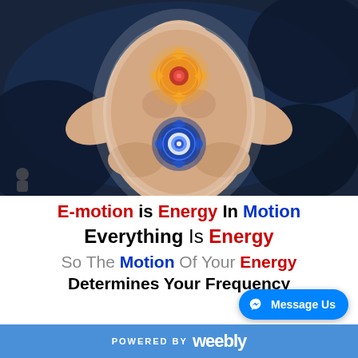[Figure (illustration): Artistic painting of a meditating human figure with glowing chakra energy symbols — orange flower-of-life mandala at the chest and blue mandala at the solar plexus, against a dark swirling background]
E-motion is Energy In Motion
Everything Is Energy
So The Motion Of Your Energy Determines Your Frequency
POWERED BY Weebly